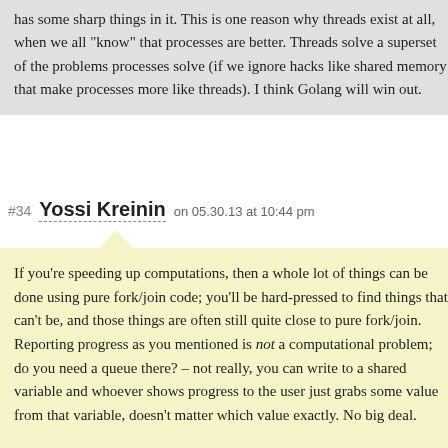has some sharp things in it. This is one reason why threads exist at all, when we all "know" that processes are better. Threads solve a superset of the problems processes solve (if we ignore hacks like shared memory that make processes more like threads). I think Golang will win out.
#34 Yossi Kreinin on 05.30.13 at 10:44 pm
If you're speeding up computations, then a whole lot of things can be done using pure fork/join code; you'll be hard-pressed to find things that can't be, and those things are often still quite close to pure fork/join. Reporting progress as you mentioned is not a computational problem; do you need a queue there? – not really, you can write to a shared variable and whoever shows progress to the user just grabs some value from that variable, doesn't matter which value exactly. No big deal.

Library vs design pattern – you want a library to be able to have checking tools. If you think you don't need such tools, perhaps you're right – it depends on the size of your team, the size of your system, and the tolerance your customers have for bugs (mine have rather low tolerance – they're car vendors). Note that dynamic checkers, unlike static verifiers, did catch on – Valgrind is a prominent example, language-level array bounds checking is another, and Go's own race detector is perhaps the